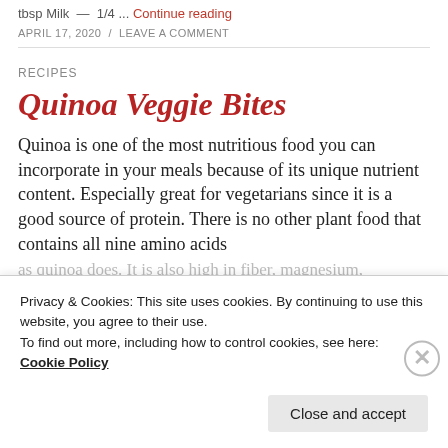tbsp Milk  —  1/4 ...  Continue reading
APRIL 17, 2020  /  LEAVE A COMMENT
RECIPES
Quinoa Veggie Bites
Quinoa is one of the most nutritious food you can incorporate in your meals because of its unique nutrient content. Especially great for vegetarians since it is a good source of protein. There is no other plant food that contains all nine amino acids as quinoa does. It is also high in fiber, magnesium,
Privacy & Cookies: This site uses cookies. By continuing to use this website, you agree to their use.
To find out more, including how to control cookies, see here:
Cookie Policy
Close and accept